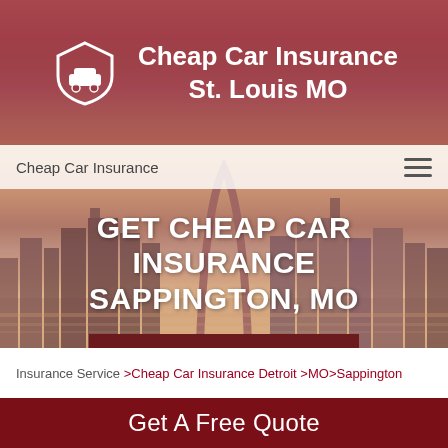[Figure (screenshot): Hero image of St. Louis skyline with Gateway Arch at sunset with pink/orange sky]
Cheap Car Insurance St. Louis MO
Cheap Car Insurance
GET CHEAP CAR INSURANCE SAPPINGTON, MO
GET QUOTES NOW
Insurance Service >Cheap Car Insurance Detroit >MO>Sappington
Get A Free Quote